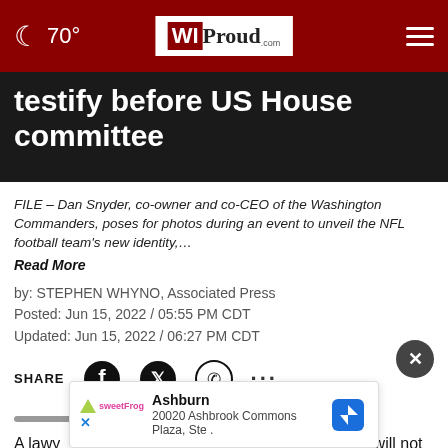70° WIProud.com
testify before US House committee
FILE – Dan Snyder, co-owner and co-CEO of the Washington Commanders, poses for photos during an event to unveil the NFL football team's new identity,…
Read More
by: STEPHEN WHYNO, Associated Press
Posted: Jun 15, 2022 / 05:55 PM CDT
Updated: Jun 15, 2022 / 06:27 PM CDT
SHARE
A lawy… the Washington Commanders owner will not testify at a